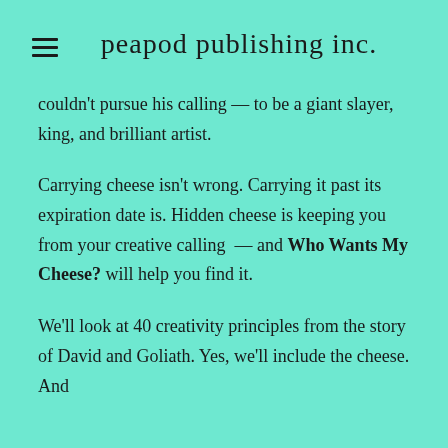peapod publishing inc.
couldn't pursue his calling — to be a giant slayer, king, and brilliant artist.
Carrying cheese isn't wrong. Carrying it past its expiration date is. Hidden cheese is keeping you from your creative calling — and Who Wants My Cheese? will help you find it.
We'll look at 40 creativity principles from the story of David and Goliath. Yes, we'll include the cheese. And